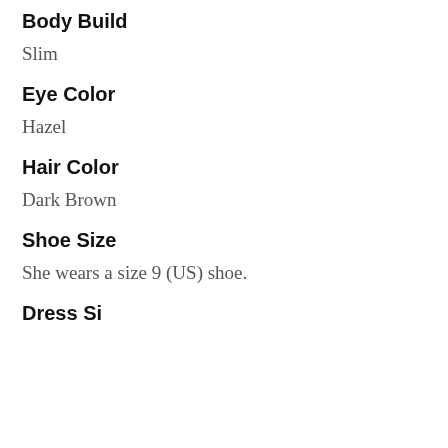Body Build
Slim
Eye Color
Hazel
Hair Color
Dark Brown
Shoe Size
She wears a size 9 (US) shoe.
Dress Size